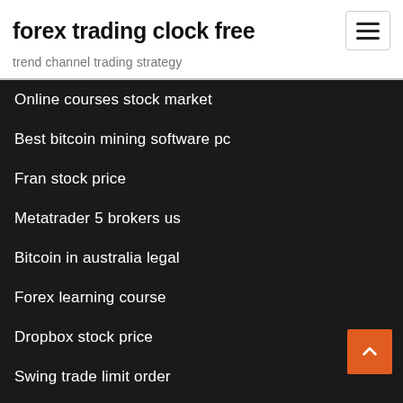forex trading clock free
trend channel trading strategy
Online courses stock market
Best bitcoin mining software pc
Fran stock price
Metatrader 5 brokers us
Bitcoin in australia legal
Forex learning course
Dropbox stock price
Swing trade limit order
What is the ticker symbol for johnson and johnson
Price of 1 dinar